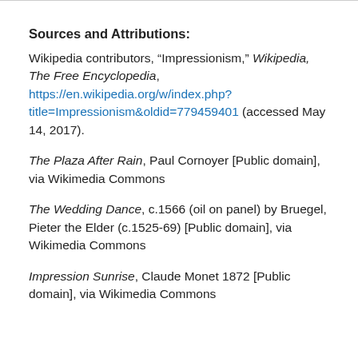Sources and Attributions:
Wikipedia contributors, “Impressionism,” Wikipedia, The Free Encyclopedia, https://en.wikipedia.org/w/index.php?title=Impressionism&oldid=779459401 (accessed May 14, 2017).
The Plaza After Rain, Paul Cornoyer [Public domain], via Wikimedia Commons
The Wedding Dance, c.1566 (oil on panel) by Bruegel, Pieter the Elder (c.1525-69) [Public domain], via Wikimedia Commons
Impression Sunrise, Claude Monet 1872 [Public domain], via Wikimedia Commons